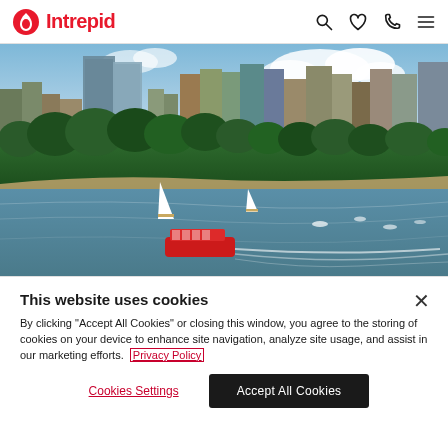Intrepid
[Figure (photo): City skyline with tall buildings on the right, green trees in the middle, and a river in the foreground with sailboats and a red ferry creating a wake.]
This website uses cookies
By clicking "Accept All Cookies" or closing this window, you agree to the storing of cookies on your device to enhance site navigation, analyze site usage, and assist in our marketing efforts. Privacy Policy
Cookies Settings | Accept All Cookies